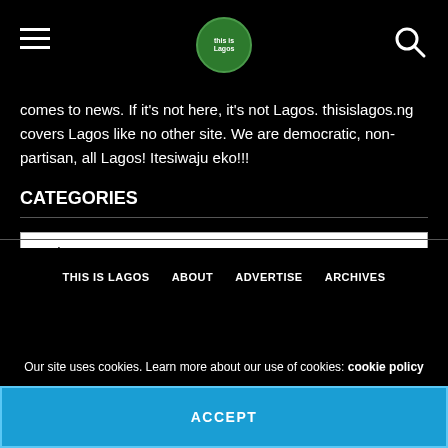This Is Lagos - navigation header with hamburger menu, logo, and search icon
comes to news. If it's not here, it's not Lagos. thisislagos.ng covers Lagos like no other site. We are democratic, non-partisan, all Lagos! Itesiwaju eko!!!
CATEGORIES
Select Category dropdown
THIS IS LAGOS   ABOUT   ADVERTISE   ARCHIVES
Our site uses cookies. Learn more about our use of cookies: cookie policy
ACCEPT